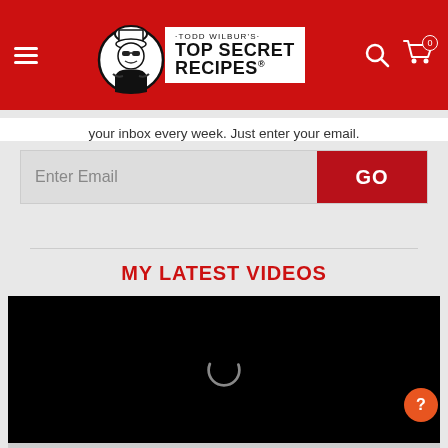[Figure (logo): Todd Wilbur's Top Secret Recipes logo with chef character in circular emblem, red navigation bar with hamburger menu, search icon, and cart icon showing 0]
your inbox every week. Just enter your email.
[Figure (screenshot): Email input field with placeholder 'Enter Email' and red GO button]
MY LATEST VIDEOS
[Figure (screenshot): Black video player with loading spinner, video controls showing 00:00 / 01:03]